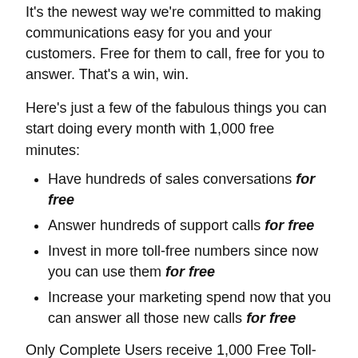It's the newest way we're committed to making communications easy for you and your customers. Free for them to call, free for you to answer. That's a win, win.
Here's just a few of the fabulous things you can start doing every month with 1,000 free minutes:
Have hundreds of sales conversations for free
Answer hundreds of support calls for free
Invest in more toll-free numbers since now you can use them for free
Increase your marketing spend now that you can answer all those new calls for free
Only Complete Users receive 1,000 Free Toll-Free Minutes.
If you have existing clients with plans that...